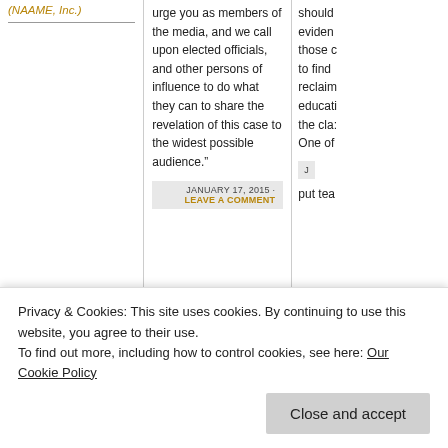(NAAME, Inc.)
urge you as members of the media, and we call upon elected officials, and other persons of influence to do what they can to share the revelation of this case to the widest possible audience.”
JANUARY 17, 2015 - LEAVE A COMMENT
should evidence those c to find reclaim educati the cla: One of
put tea
[Figure (screenshot): ThePortlandAlliance Speaking Truth to Power Since 1981 logo on gray background]
[Figure (illustration): Colorful text art reading 'We Want Peace at Work']
[Figure (photo): Partial photo showing letter R on textured background]
http://www.ThePortlandAlliance.c
people’s description of
ati era da ser
Privacy & Cookies: This site uses cookies. By continuing to use this website, you agree to their use.
To find out more, including how to control cookies, see here: Our Cookie Policy
Close and accept